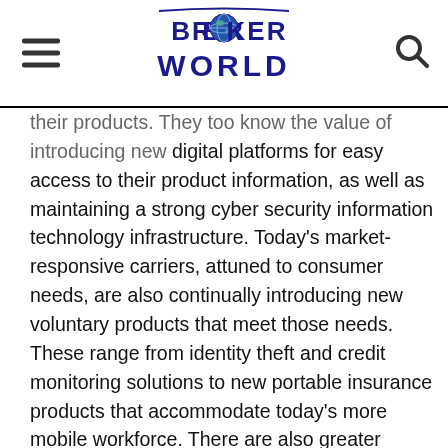BROKER WORLD
their products. They too know the value of introducing new digital platforms for easy access to their product information, as well as maintaining a strong cyber security information technology infrastructure. Today's market-responsive carriers, attuned to consumer needs, are also continually introducing new voluntary products that meet those needs. These range from identity theft and credit monitoring solutions to new portable insurance products that accommodate today's more mobile workforce. There are also greater measures to support consumers' greater financial literacy and better understanding the role of each insurance product and/or employee benefit. Carriers are sending product specialists right to the worksite on enrollment days to assist in educating employees about different products, best coverage amounts, and how they will help achieve vital financial protections.